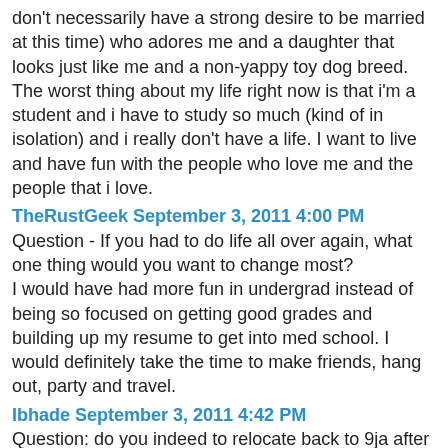don't necessarily have a strong desire to be married at this time) who adores me and a daughter that looks just like me and a non-yappy toy dog breed. The worst thing about my life right now is that i'm a student and i have to study so much (kind of in isolation) and i really don't have a life. I want to live and have fun with the people who love me and the people that i love.
TheRustGeek September 3, 2011 4:00 PM
Question - If you had to do life all over again, what one thing would you want to change most?
I would have had more fun in undergrad instead of being so focused on getting good grades and building up my resume to get into med school. I would definitely take the time to make friends, hang out, party and travel.
Ibhade September 3, 2011 4:42 PM
Question: do you indeed to relocate back to 9ja after your studies and practice?
That's not likely to happen anytime soon. 99% of my immediate family is here so i really have no incentive to go back to Nigeria to practice. However, i would love to take part in medical mission trips to Nigeria, so hopefully i can do that when the time comes.